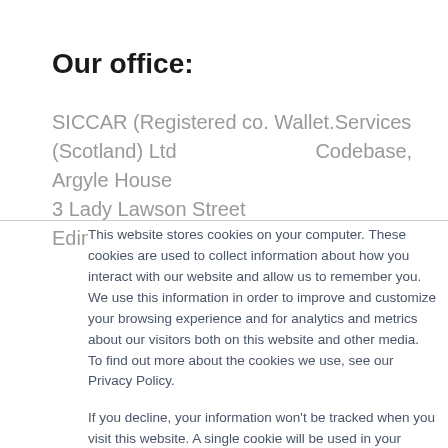Our office:
SICCAR (Registered co. Wallet.Services (Scotland) Ltd                    Codebase, Argyle House
3 Lady Lawson Street
Edinburgh, EH3 9DP
This website stores cookies on your computer. These cookies are used to collect information about how you interact with our website and allow us to remember you. We use this information in order to improve and customize your browsing experience and for analytics and metrics about our visitors both on this website and other media. To find out more about the cookies we use, see our Privacy Policy.

If you decline, your information won't be tracked when you visit this website. A single cookie will be used in your browser to remember your preference not to be tracked.
Accept
Decline